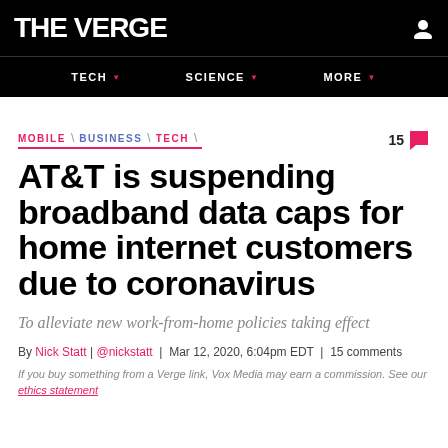THE VERGE
TECH | SCIENCE | MORE
MOBILE \ BUSINESS \ TECH   15 comments
AT&T is suspending broadband data caps for home internet customers due to coronavirus
To alleviate new work-from-home policies taking effect
By Nick Statt | @nickstatt | Mar 12, 2020, 6:04pm EDT | 15 comments
If you buy something from a Verge link, Vox Media may earn a commission. See our ethics statement